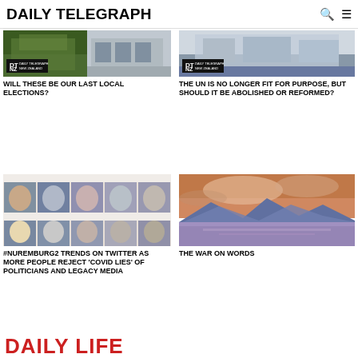DAILY TELEGRAPH
[Figure (photo): Two-part image: green outdoor scene and building exterior, with DT NZ Daily Telegraph New Zealand badge]
WILL THESE BE OUR LAST LOCAL ELECTIONS?
[Figure (photo): Building exterior with blue sky, DT NZ Daily Telegraph New Zealand badge]
THE UN IS NO LONGER FIT FOR PURPOSE, BUT SHOULD IT BE ABOLISHED OR REFORMED?
[Figure (photo): Grid of politician portrait photos in two rows of five]
#NUREMBURG2 TRENDS ON TWITTER AS MORE PEOPLE REJECT 'COVID LIES' OF POLITICIANS AND LEGACY MEDIA
[Figure (photo): Scenic mountain lake at sunset with pink and purple sky]
THE WAR ON WORDS
DAILY LIFE